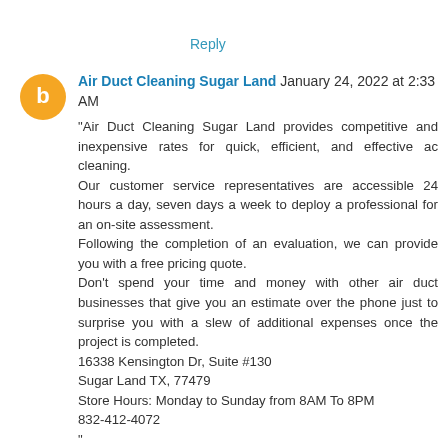Reply
Air Duct Cleaning Sugar Land January 24, 2022 at 2:33 AM
"Air Duct Cleaning Sugar Land provides competitive and inexpensive rates for quick, efficient, and effective ac cleaning.
Our customer service representatives are accessible 24 hours a day, seven days a week to deploy a professional for an on-site assessment.
Following the completion of an evaluation, we can provide you with a free pricing quote.
Don't spend your time and money with other air duct businesses that give you an estimate over the phone just to surprise you with a slew of additional expenses once the project is completed.
16338 Kensington Dr, Suite #130
Sugar Land TX, 77479
Store Hours: Monday to Sunday from 8AM To 8PM
832-412-4072
"